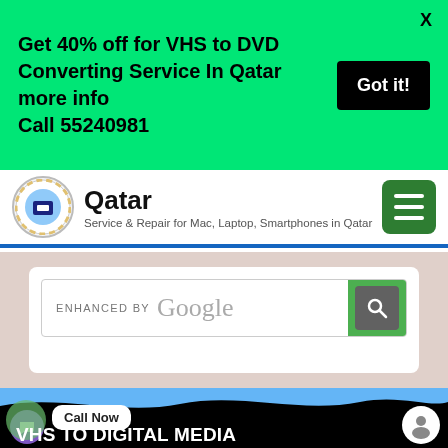Get 40% off for VHS to DVD Converting Service In Qatar more info Call 55240981
Got it!
Qatar
Service & Repair for Mac, Laptop, Smartphones in Qatar
[Figure (screenshot): Google enhanced search bar with search button]
[Figure (screenshot): VHS to Digital Media Service in Qatar hero banner with Call Now button, chat icon, and profile icon]